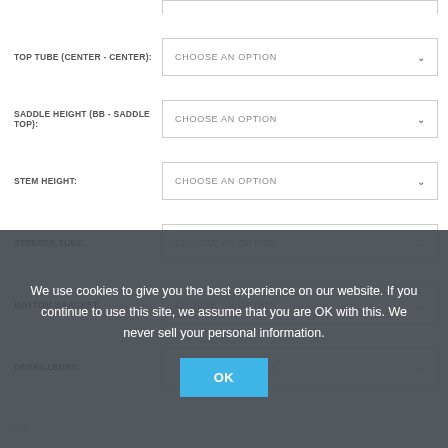TOP TUBE (CENTER - CENTER): CHOOSE AN OPTION
SADDLE HEIGHT (BB - SADDLE TOP): CHOOSE AN OPTION
STEM HEIGHT: CHOOSE AN OPTION
STEERER TUBE: CHOOSE AN OPTION
BOTTOM BRACKET: CHOOSE AN OPTION
DERAILLEURS: CHOOSE AN OPTION
We use cookies to give you the best experience on our website. If you continue to use this site, we assume that you are OK with this. We never sell your personal information.